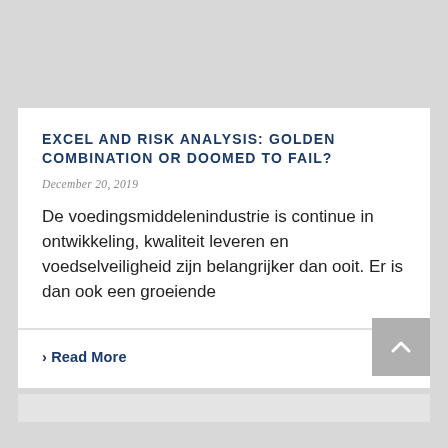EXCEL AND RISK ANALYSIS: GOLDEN COMBINATION OR DOOMED TO FAIL?
December 20, 2019
De voedingsmiddelenindustrie is continue in ontwikkeling, kwaliteit leveren en voedselveiligheid zijn belangrijker dan ooit. Er is dan ook een groeiende
› Read More